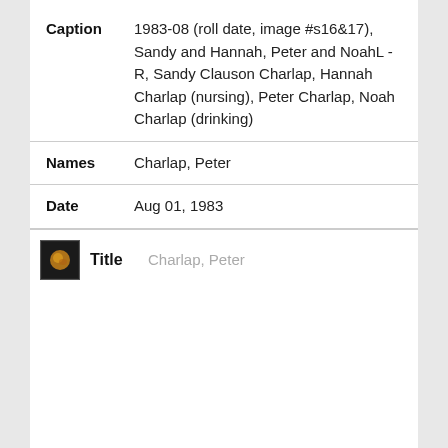| Field | Value |
| --- | --- |
| Caption | 1983-08 (roll date, image #s16&17), Sandy and Hannah, Peter and NoahL - R, Sandy Clauson Charlap, Hannah Charlap (nursing), Peter Charlap, Noah Charlap (drinking) |
| Names | Charlap, Peter |
| Date | Aug 01, 1983 |
Title   Charlap, Peter